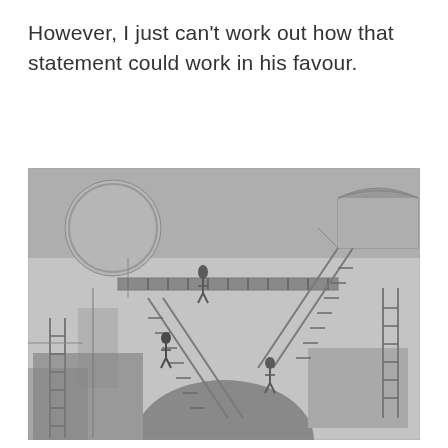However, I just can't work out how that statement could work in his favour.
[Figure (illustration): Black and white illustration resembling M.C. Escher's 'Relativity' — an impossible architectural scene with staircases, arches, and figures walking in multiple gravitational directions through an interconnected building interior.]